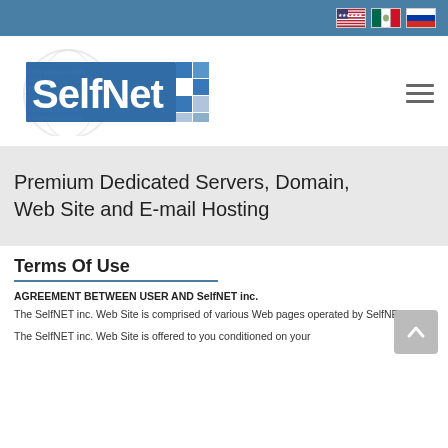[Figure (logo): Three country flag icons (USA, Mexico, Russia) in the top navigation bar]
[Figure (logo): SelfNET company logo with blue text and checkered blue/gray squares, globe watermark in background]
Premium Dedicated Servers, Domain, Web Site and E-mail Hosting
Terms Of Use
AGREEMENT BETWEEN USER AND SelfNET inc.
The SelfNET inc. Web Site is comprised of various Web pages operated by SelfNET inc..
The SelfNET inc. Web Site is offered to you conditioned on your